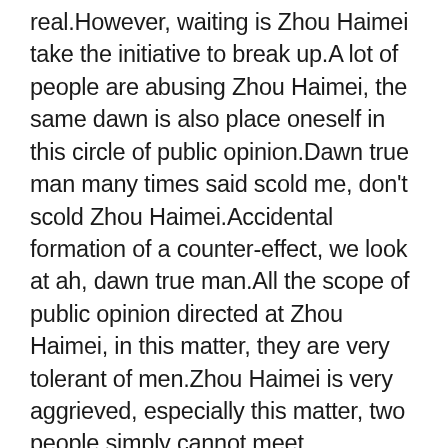real.However, waiting is Zhou Haimei take the initiative to break up.A lot of people are abusing Zhou Haimei, the same dawn is also place oneself in this circle of public opinion.Dawn true man many times said scold me, don't scold Zhou Haimei.Accidental formation of a counter-effect, we look at ah, dawn true man.All the scope of public opinion directed at Zhou Haimei, in this matter, they are very tolerant of men.Zhou Haimei is very aggrieved, especially this matter, two people simply cannot meet aboveboard, the company stares at her very dead.It is clearly two people of the matter but to scold her, this section of love finally announced to break up.A lot of people are very sorry about this love, because they have seen that year's TV series, especially the image of the two very good match handsome men and women why not get married?The first point: dawn although admit Zhou Haimei is girlfriend, also love her, but with their own career compared, what is this.Point 2: own sure to this section of